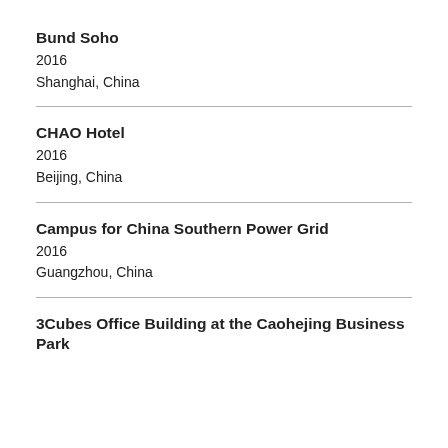Bund Soho
2016
Shanghai, China
CHAO Hotel
2016
Beijing, China
Campus for China Southern Power Grid
2016
Guangzhou, China
3Cubes Office Building at the Caohejing Business Park